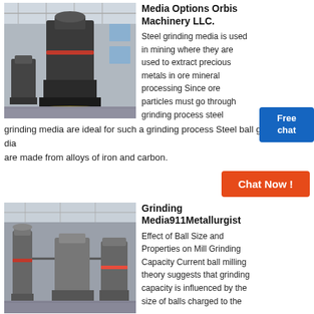[Figure (photo): Industrial grinding mill machine in a factory/warehouse setting]
Media Options Orbis Machinery LLC.
Steel grinding media is used in mining where they are used to extract precious metals in ore mineral processing Since ore particles must go through grinding process steel grinding media are ideal for such a grinding process Steel ball grinding media are made from alloys of iron and carbon.
[Figure (other): Free chat button overlay]
[Figure (other): Chat Now! button]
[Figure (photo): Industrial grinding mill machines in a factory setting]
Grinding Media911Metallurgist
Effect of Ball Size and Properties on Mill Grinding Capacity Current ball milling theory suggests that grinding capacity is influenced by the size of balls charged to the